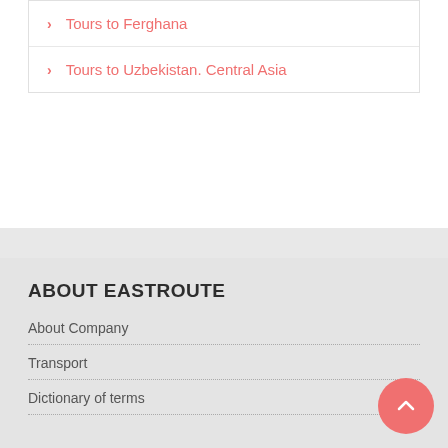Tours to Ferghana
Tours to Uzbekistan. Central Asia
ABOUT EASTROUTE
About Company
Transport
Dictionary of terms